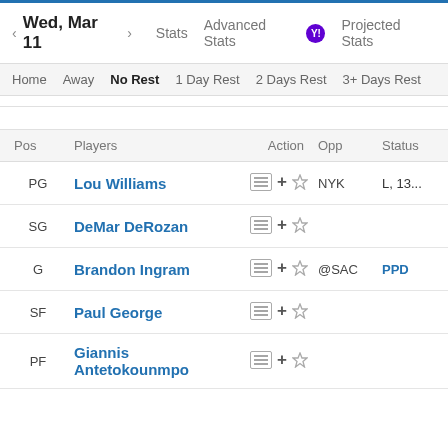Wed, Mar 11  |  Stats  |  Advanced Stats  |  Projected Stats
Home  Away  No Rest  1 Day Rest  2 Days Rest  3+ Days Rest
| Pos | Players | Action | Opp | Status |
| --- | --- | --- | --- | --- |
| PG | Lou Williams | + ☆ | NYK | L, 13... |
| SG | DeMar DeRozan | + ☆ |  |  |
| G | Brandon Ingram | + ☆ | @SAC | PPD |
| SF | Paul George | + ☆ |  |  |
| PF | Giannis Antetokounmpo | + ☆ |  |  |